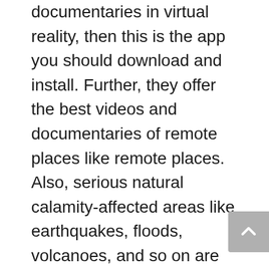documentaries in virtual reality, then this is the app you should download and install. Further, they offer the best videos and documentaries of remote places like remote places. Also, serious natural calamity-affected areas like earthquakes, floods, volcanoes, and so on are offered for the audience.
Also, there are various issues covered by the app developers which are updated often to bring it to the user's concern. One can watch the documentaries of remote places easily with the application and find it proper for the concern.